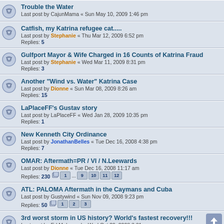Trouble the Water
Last post by CajunMama « Sun May 10, 2009 1:46 pm
Catfish, my Katrina refugee cat.....
Last post by Stephanie « Thu Mar 12, 2009 6:52 pm
Replies: 5
Gulfport Mayor & Wife Charged in 16 Counts of Katrina Fraud
Last post by Stephanie « Wed Mar 11, 2009 8:31 pm
Replies: 3
Another "Wind vs. Water" Katrina Case
Last post by Dionne « Sun Mar 08, 2009 8:26 am
Replies: 15
LaPlaceFF's Gustav story
Last post by LaPlaceFF « Wed Jan 28, 2009 10:35 pm
Replies: 1
New Kenneth City Ordinance
Last post by JonathanBelles « Tue Dec 16, 2008 4:38 pm
Replies: 7
OMAR: Aftermath=PR / VI / N.Leewards
Last post by Dionne « Tue Dec 16, 2008 11:17 am
Replies: 230
Pages: 1 ... 9 10 11 12
ATL: PALOMA Aftermath in the Caymans and Cuba
Last post by Gustywind « Sun Nov 09, 2008 9:23 pm
Replies: 50
Pages: 1 2 3
3rd worst storm in US history? World's fastest recovery!!!
Last post by Ed Mahmoud « Wed Oct 29, 2008 3:31 pm
Replies: 5
400 still missing from Ike
Last post by MiamiensisWx « Thu Oct 23, 2008 7:45 pm
Replies: 48